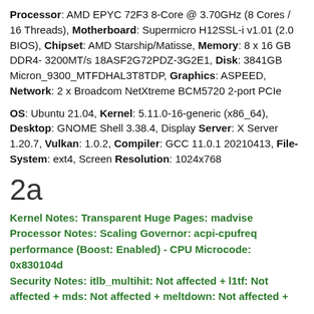Processor: AMD EPYC 72F3 8-Core @ 3.70GHz (8 Cores / 16 Threads), Motherboard: Supermicro H12SSL-i v1.01 (2.0 BIOS), Chipset: AMD Starship/Matisse, Memory: 8 x 16 GB DDR4-3200MT/s 18ASF2G72PDZ-3G2E1, Disk: 3841GB Micron_9300_MTFDHAL3T8TDP, Graphics: ASPEED, Network: 2 x Broadcom NetXtreme BCM5720 2-port PCIe
OS: Ubuntu 21.04, Kernel: 5.11.0-16-generic (x86_64), Desktop: GNOME Shell 3.38.4, Display Server: X Server 1.20.7, Vulkan: 1.0.2, Compiler: GCC 11.0.1 20210413, File-System: ext4, Screen Resolution: 1024x768
2a
Kernel Notes: Transparent Huge Pages: madvise Processor Notes: Scaling Governor: acpi-cpufreq performance (Boost: Enabled) - CPU Microcode: 0x830104d Security Notes: itlb_multihit: Not affected + l1tf: Not affected + mds: Not affected + meltdown: Not affected +